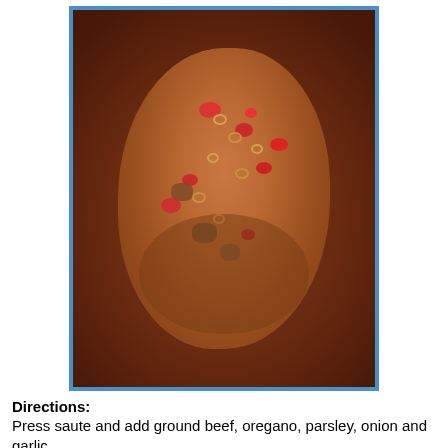[Figure (photo): Photo of a pot containing macaroni pasta, ground beef, red tomato chunks, and other vegetables cooking together in a reddish-brown broth. The pot has a shiny metal interior and the food fills the center.]
Directions:
Press saute and add ground beef, oregano, parsley, onion and garlic.
Cook until the meat is no longer pink and is crumbling.